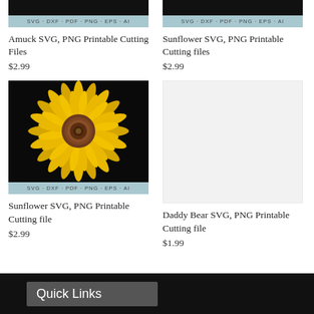[Figure (photo): Top portion of product image with SVG/DXF/PDF/PNG/EPS/AI format bar (cropped top stub) for Amuck SVG product]
[Figure (photo): Top portion of product image with SVG/DXF/PDF/PNG/EPS/AI format bar (cropped top stub) for Sunflower SVG product]
Amuck SVG, PNG Printable Cutting Files
Sunflower SVG, PNG Printable Cutting files
$2.99
$2.99
[Figure (photo): Sunflower photograph on black background with SVG/DXF/PDF/PNG/EPS/AI format bar at bottom, for Sunflower SVG PNG Printable Cutting file product]
[Figure (photo): Light grey placeholder image for Daddy Bear SVG PNG Printable Cutting file product]
Sunflower SVG, PNG Printable Cutting file
Daddy Bear SVG, PNG Printable Cutting file
$2.99
$1.99
Quick Links